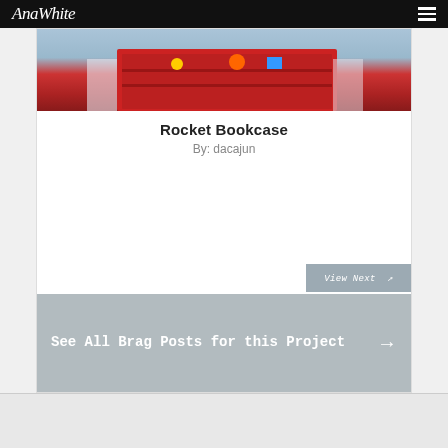AnaWhite
[Figure (photo): Photo of a red rocket-shaped bookcase with toys and items on shelves, shown against a light blue/grey background]
Rocket Bookcase
By: dacajun
View Next →
See All Brag Posts for this Project →